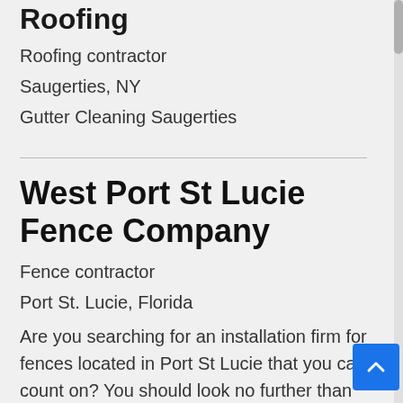Roofing
Roofing contractor
Saugerties, NY
Gutter Cleaning Saugerties
West Port St Lucie Fence Company
Fence contractor
Port St. Lucie, Florida
Are you searching for an installation firm for fences located in Port St Lucie that you can count on? You should look no further than Pro Port St Lucie Fence Company. We are a family-owned operated company tha takes great pleasure in providing high-quali